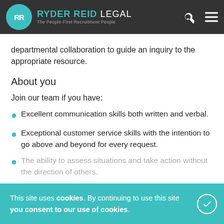Ryder Reid Legal – The People-First Recruitment People
departmental collaboration to guide an inquiry to the appropriate resource.
About you
Join our team if you have:
Excellent communication skills both written and verbal.
Exceptional customer service skills with the intention to go above and beyond for every request.
The ability to assess situations and take action without the direction of others.
And have:
This site uses cookies. By continuing to use this site you consent to our use of cookies.